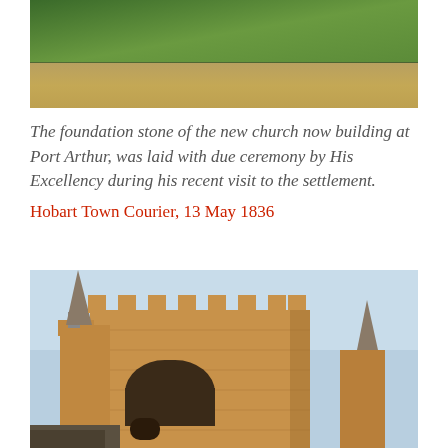[Figure (photo): Top portion of a photo showing grass and a dirt path/ground]
The foundation stone of the new church now building at Port Arthur, was laid with due ceremony by His Excellency during his recent visit to the settlement.
Hobart Town Courier, 13 May 1836
[Figure (photo): Photo of a Gothic stone church tower with battlements and spires, taken from below looking upward, showing sandstone masonry and arched window openings]